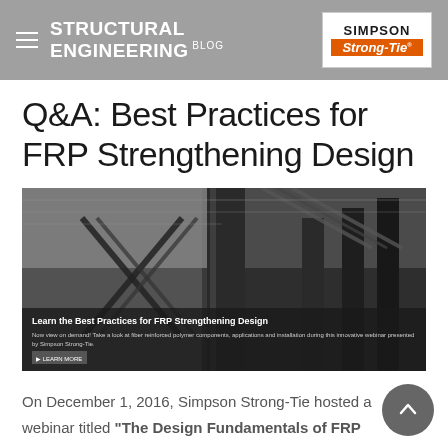STRUCTURAL ENGINEERING BLOG — Simpson Strong-Tie
Q&A: Best Practices for FRP Strengthening Design
[Figure (photo): Hero image showing interior concrete columns with FRP wraps in an architectural/structural setting, with overlay text: 'Learn the Best Practices for FRP Strengthening Design' and a LEARN MORE button]
On December 1, 2016, Simpson Strong-Tie hosted a webinar titled "The Design Fundamentals of FRP Strengthening" in which Justin Streim, P.E. – one of our